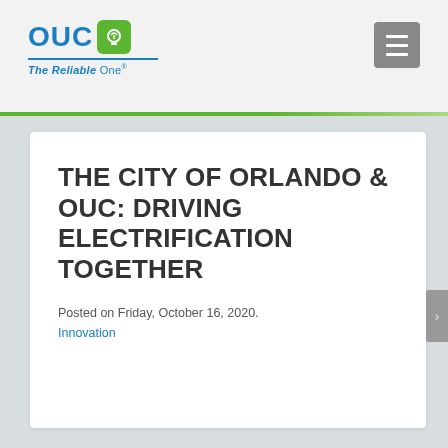OUC The Reliable One
THE CITY OF ORLANDO & OUC: DRIVING ELECTRIFICATION TOGETHER
Posted on Friday, October 16, 2020.
Innovation